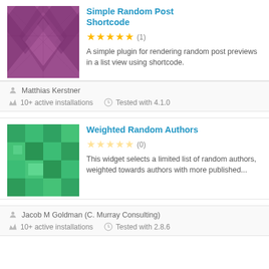[Figure (illustration): Purple argyle diamond pattern plugin thumbnail]
Simple Random Post Shortcode
★★★★★ (1)
A simple plugin for rendering random post previews in a list view using shortcode.
Matthias Kerstner
10+ active installations   Tested with 4.1.0
[Figure (illustration): Green mosaic/pixel pattern plugin thumbnail]
Weighted Random Authors
☆☆☆☆☆ (0)
This widget selects a limited list of random authors, weighted towards authors with more published...
Jacob M Goldman (C. Murray Consulting)
10+ active installations   Tested with 2.8.6